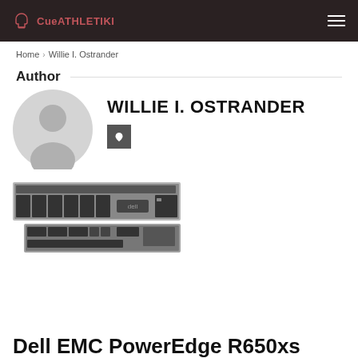CueATHLETIKI
Home > Willie I. Ostrander
Author
[Figure (illustration): Generic user avatar — grey silhouette of a person on a light grey circular background]
WILLIE I. OSTRANDER
[Figure (illustration): Small grey square social/email icon button with a heart/mail icon]
[Figure (photo): Dell EMC PowerEdge R650xs server shown from front and rear angles — 1U rack server in silver/black]
Dell EMC PowerEdge R650xs